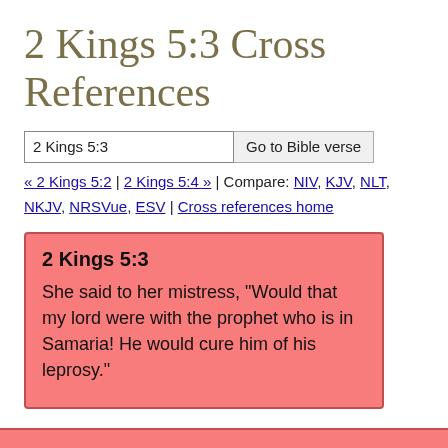2 Kings 5:3 Cross References
2 Kings 5:3 | Go to Bible verse
« 2 Kings 5:2 | 2 Kings 5:4 » | Compare: NIV, KJV, NLT, NKJV, NRSVue, ESV | Cross references home
2 Kings 5:3
She said to her mistress, “Would that my lord were with the prophet who is in Samaria! He would cure him of his leprosy.”